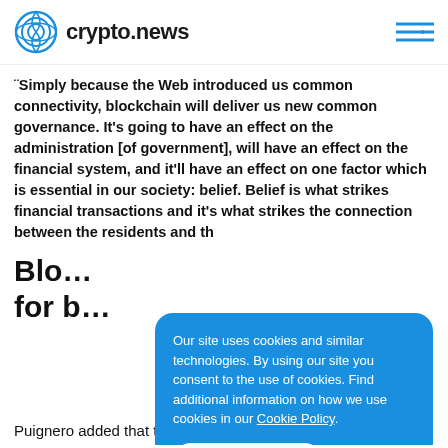crypto.news
"Simply because the Web introduced us common connectivity, blockchain will deliver us new common governance. It's going to have an effect on the administration [of government], will have an effect on the financial system, and it'll have an effect on one factor which is essential in our society: belief. Belief is what strikes financial transactions and it's what strikes the connection between the residents and th
Blo… for b…
Our site uses cookies and similar technologies. By using our site you consent to the use of cookies. Find additional information on how we use cookies in our Cookie Policy.
Puignero added that through blockchain